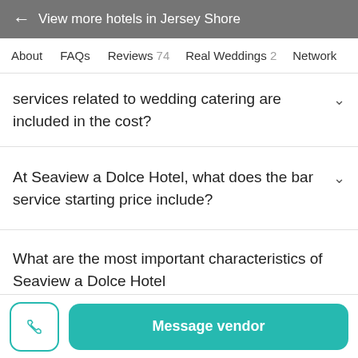← View more hotels in Jersey Shore
About  FAQs  Reviews 74  Real Weddings 2  Network
services related to wedding catering are included in the cost?
At Seaview a Dolce Hotel, what does the bar service starting price include?
What are the most important characteristics of Seaview a Dolce Hotel
Message vendor